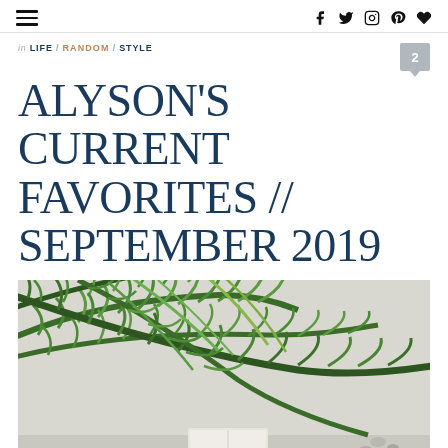Navigation and social icons header
in LIFE / RANDOM / STYLE
ALYSON'S CURRENT FAVORITES // SEPTEMBER 2019
[Figure (photo): Close-up photograph of green palm leaves against a light grey/white wall background]